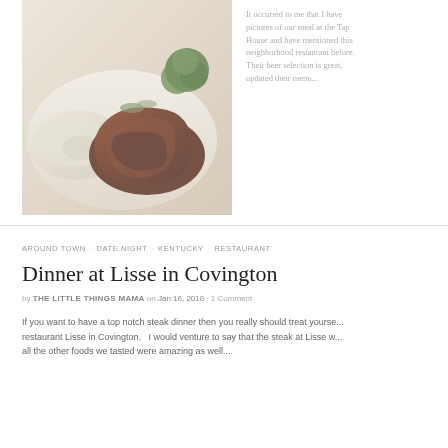[Figure (photo): Close-up photo of a cooked steak dish on a white plate with mashed potatoes and broccoli]
It occurred to me that I have pictures of our meal at the Tap House and have mentioned this neighborhood restaurant before. Their beer selection is great, updated their menu...
AROUND TOWN · DATE NIGHT · KENTUCKY · RESTAURANT
Dinner at Lisse in Covington
by THE LITTLE THINGS MAMA on Jan 16, 2018 · 1 Comment
If you want to have a top notch steak dinner then you really should treat yourself to the restaurant Lisse in Covington.   I would venture to say that the steak at Lisse w... all the other foods we tasted were amazing as well....